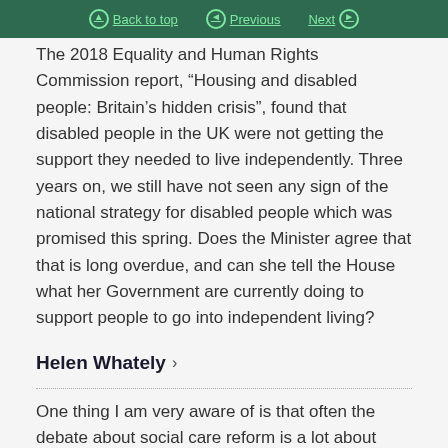Back to top | Previous | Next
The 2018 Equality and Human Rights Commission report, “Housing and disabled people: Britain’s hidden crisis”, found that disabled people in the UK were not getting the support they needed to live independently. Three years on, we still have not seen any sign of the national strategy for disabled people which was promised this spring. Does the Minister agree that that is long overdue, and can she tell the House what her Government are currently doing to support people to go into independent living?
Helen Whately ›
One thing I am very aware of is that often the debate about social care reform is a lot about care